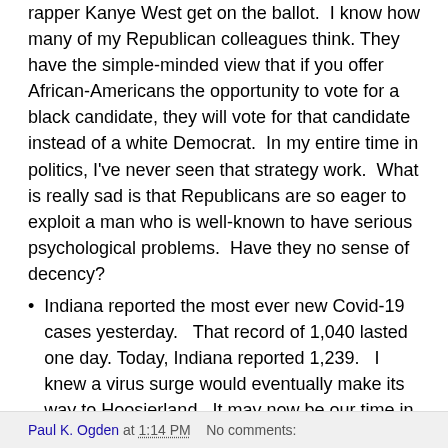rapper Kanye West get on the ballot. I know how many of my Republican colleagues think. They have the simple-minded view that if you offer African-Americans the opportunity to vote for a black candidate, they will vote for that candidate instead of a white Democrat. In my entire time in politics, I've never seen that strategy work. What is really sad is that Republicans are so eager to exploit a man who is well-known to have serious psychological problems. Have they no sense of decency?
Indiana reported the most ever new Covid-19 cases yesterday. That record of 1,040 lasted one day. Today, Indiana reported 1,239. I knew a virus surge would eventually make its way to Hoosierland. It may now be our time in the barrel. Stay safe.
Paul K. Ogden at 1:14 PM   No comments: